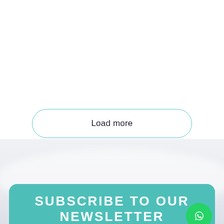Load more
[Figure (illustration): Light grey background section with subtle gradient resembling sky or water reflection]
SUBSCRIBE TO OUR NEWSLETTER